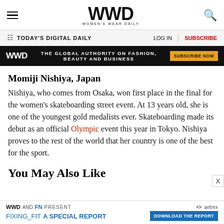WWD — WOMEN'S WEAR DAILY
TODAY'S DIGITAL DAILY   LOG IN   SUBSCRIBE
[Figure (infographic): WWD black ad banner: 'THE GLOBAL AUTHORITY ON FASHION, BEAUTY AND BUSINESS' with orange 'SUBSCRIBE NOW' button]
Momiji Nishiya, Japan
Nishiya, who comes from Osaka, won first place in the final for the women's skateboarding street event. At 13 years old, she is one of the youngest gold medalists ever. Skateboarding made its debut as an official Olympic event this year in Tokyo. Nishiya proves to the rest of the world that her country is one of the best for the sport.
You May Also Like
WWD AND FN PRESENT FIXING_FIT A SPECIAL REPORT DOWNLOAD THE REPORT — aetrex